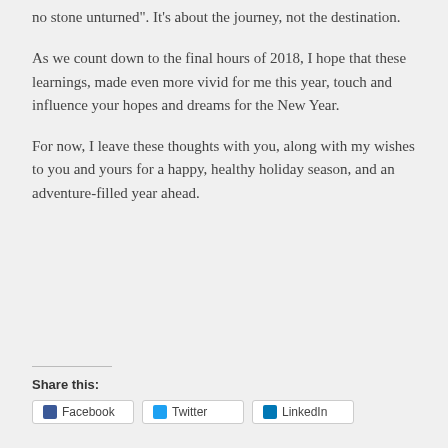no stone unturned". It's about the journey, not the destination.
As we count down to the final hours of 2018, I hope that these learnings, made even more vivid for me this year, touch and influence your hopes and dreams for the New Year.
For now, I leave these thoughts with you, along with my wishes to you and yours for a happy, healthy holiday season, and an adventure-filled year ahead.
Share this: